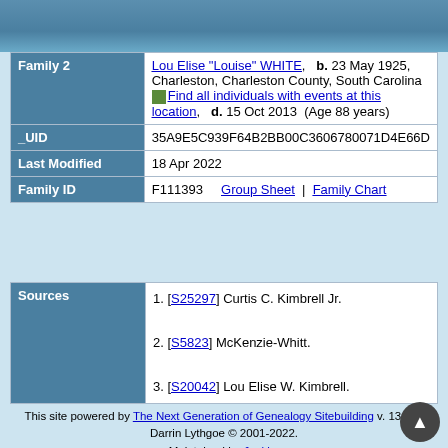| Field | Value |
| --- | --- |
| Family 2 | Lou Elise "Louise" WHITE,   b. 23 May 1925, Charleston, Charleston County, South Carolina   [Find all individuals with events at this location],   d. 15 Oct 2013  (Age 88 years) |
| _UID | 35A9E5C939F64B2BB00C3606780071D4E66D |
| Last Modified | 18 Apr 2022 |
| Family ID | F111393   Group Sheet  |  Family Chart |
| Sources | List |
| --- | --- |
| Sources | 1. [S25297] Curtis C. Kimbrell Jr.
2. [S5823] McKenzie-Whitt.
3. [S20042] Lou Elise W. Kimbrell. |
Switch to standard site
This site powered by The Next Generation of Genealogy Sitebuilding v. 13.0.1, Darrin Lythgoe © 2001-2022. Maintained by Jackie.